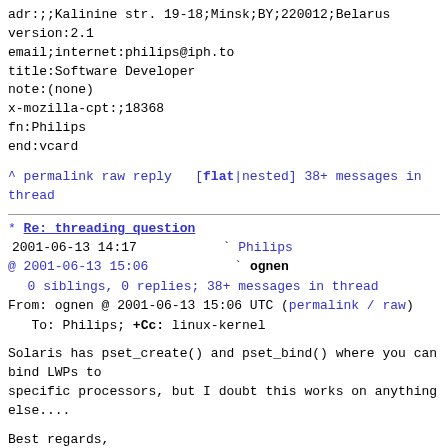adr:;;Kalinine str. 19-18;Minsk;BY;220012;Belarus
version:2.1
email;internet:philips@iph.to
title:Software Developer
note:(none)
x-mozilla-cpt:;18368
fn:Philips
end:vcard
^ permalink raw reply  [flat|nested] 38+ messages in thread
* Re: threading question
2001-06-13 14:17          ` Philips
@ 2001-06-13 15:06          ` ognen
  0 siblings, 0 replies; 38+ messages in thread
From: ognen @ 2001-06-13 15:06 UTC (permalink / raw)
   To: Philips; +Cc: linux-kernel
Solaris has pset_create() and pset_bind() where you can bind LWPs to
specific processors, but I doubt this works on anything else....
Best regards,
Ognen
On Wed, 13 Jun 2001, Philips wrote: